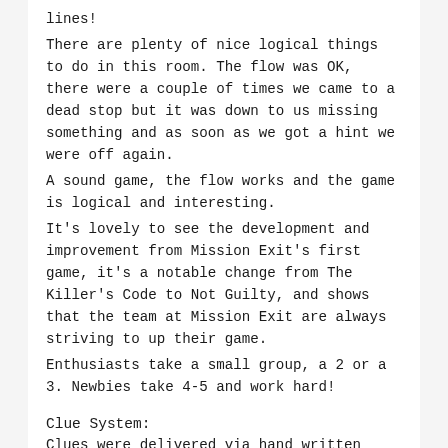lines!
There are plenty of nice logical things to do in this room. The flow was OK, there were a couple of times we came to a dead stop but it was down to us missing something and as soon as we got a hint we were off again.
A sound game, the flow works and the game is logical and interesting.
It's lovely to see the development and improvement from Mission Exit's first game, it's a notable change from The Killer's Code to Not Guilty, and shows that the team at Mission Exit are always striving to up their game.
Enthusiasts take a small group, a 2 or a 3. Newbies take 4-5 and work hard!
Clue System:
Clues were delivered via hand written notes from